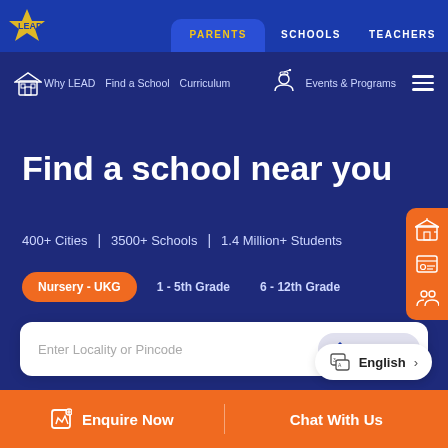PARENTS | SCHOOLS | TEACHERS
Why LEAD | Find a School | Curriculum | Events & Programs
Find a school near you
400+ Cities | 3500+ Schools | 1.4 Million+ Students
Nursery - UKG
1 - 5th Grade
6 - 12th Grade
Enter Locality or Pincode
Near Me
English >
Enquire Now | Chat With Us